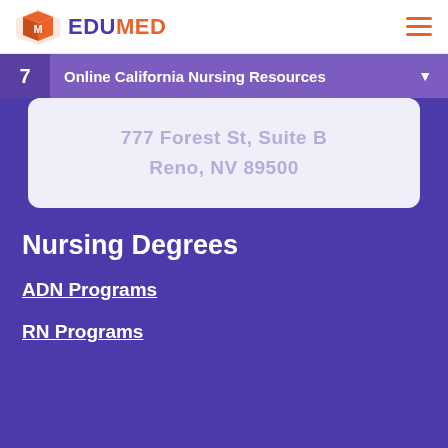EDUMED
7  Online California Nursing Resources
[Figure (screenshot): A card/panel showing a partially visible address: 777 Forest St, Suite B, Reno, NV 89500]
Nursing Degrees
ADN Programs
RN Programs